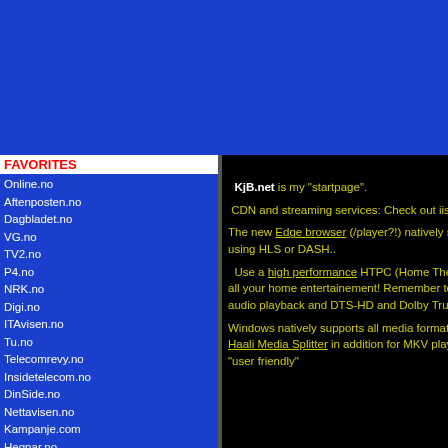[Figure (other): Blue header banner area at top of webpage]
FAVORITES
Online.no
Aftenposten.no
Dagbladet.no
VG.no
TV2.no
P4.no
NRK.no
Digi.no
ITAvisen.no
Tu.no
Telecomrevy.no
Insidetelecom.no
DinSide.no
Nettavisen.no
Kampanje.com
Hegnar.no
DN.no
PCWorld.no
Computerworld.no
TB.no
OP.no
Startsiden.no
Microsoft.com
News.com
CNN.com
BBC.co.uk
Landevei.no
Procycling.no
About this site
KjB.net is my "startpage".
CDN and streaming services: Check out iis.net/media, streamingmedia.com.
The new Edge browser (/player?!) natively supports multichannel audio (DD+ or DD -> PCM) when using HLS or DASH..
Use a high performance HTPC (Home Theater PC) with Windows 7 / 8.1 / 10 and XBMC / Kodi for all your home entertainement! Remember to always use the WASAPI audio interface for the best audio playback and DTS-HD and Dolby TrueHD support. XBMC / Kodi also runs on Raspberry Pi.
Windows natively supports all media formats and most containers using WMC or WMP.. Only use the Haali Media Splitter in addition for MKV playback. WMC and WMC extenders are still the only true "user friendly"